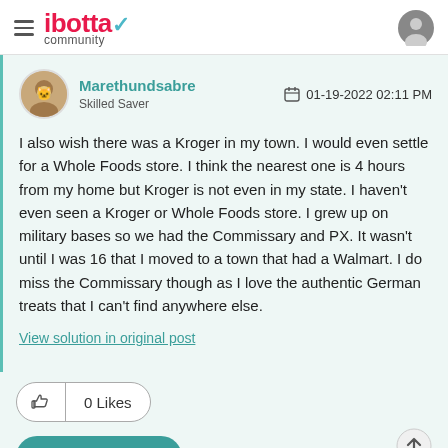ibotta community
Marethundsabre
Skilled Saver
01-19-2022 02:11 PM
I also wish there was a Kroger in my town. I would even settle for a Whole Foods store. I think the nearest one is 4 hours from my home but Kroger is not even in my state. I haven't even seen a Kroger or Whole Foods store. I grew up on military bases so we had the Commissary and PX. It wasn't until I was 16 that I moved to a town that had a Walmart. I do miss the Commissary though as I love the authentic German treats that I can't find anywhere else.
View solution in original post
0 Likes
Reply